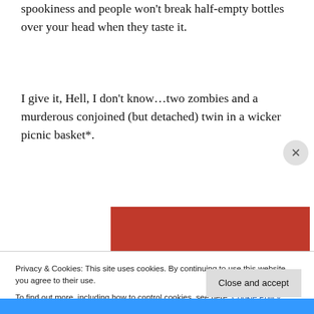spookiness and people won't break half-empty bottles over your head when they taste it.
I give it, Hell, I don't know…two zombies and a murderous conjoined (but detached) twin in a wicker picnic basket*.
[Figure (screenshot): Red advertisement banner reading 'The best stories on the web – ours, and everyone else's.' with a 'Start reading' button on a dark red background]
Privacy & Cookies: This site uses cookies. By continuing to use this website, you agree to their use.
To find out more, including how to control cookies, see here: Cookie Policy
Close and accept